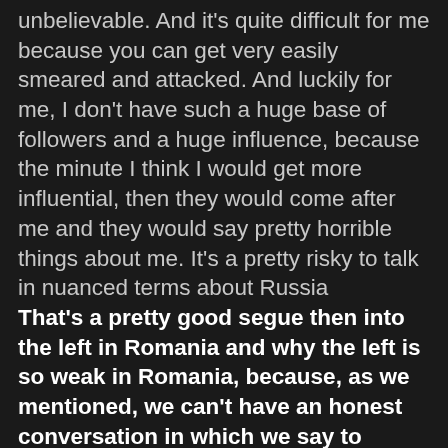unbelievable. And it's quite difficult for me because you can get very easily smeared and attacked. And luckily for me, I don't have such a huge base of followers and a huge influence, because the minute I think I would get more influential, then they would come after me and they would say pretty horrible things about me. It's a pretty risky to talk in nuanced terms about Russia That's a pretty good segue then into the left in Romania and why the left is so weak in Romania, because, as we mentioned, we can't have an honest conversation in which we say to people that the world is way more complicated than just the Russians are evil, no matter whether it's communism or capitalism. We need to have a mixed